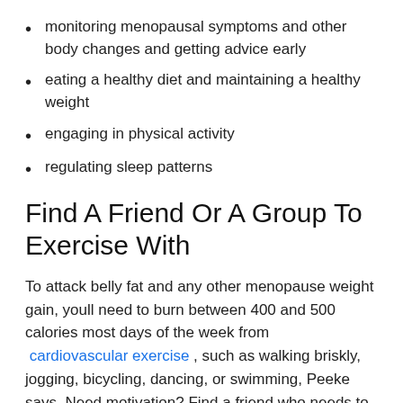monitoring menopausal symptoms and other body changes and getting advice early
eating a healthy diet and maintaining a healthy weight
engaging in physical activity
regulating sleep patterns
Find A Friend Or A Group To Exercise With
To attack belly fat and any other menopause weight gain, youll need to burn between 400 and 500 calories most days of the week from cardiovascular exercise , such as walking briskly, jogging, bicycling, dancing, or swimming, Peeke says. Need motivation? Find a friend who needs to exercise as much as you do, and set a date to work out together.